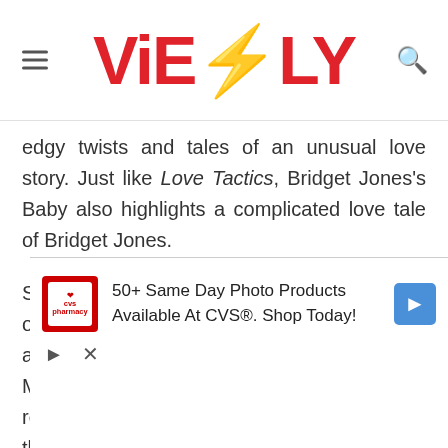ViEBLY
edgy twists and tales of an unusual love story. Just like Love Tactics, Bridget Jones's Baby also highlights a complicated love tale of Bridget Jones.
She breaks up with Mark and starts to focus on her career instead. Soon she starts dating a very charming guy named Jack. However, Mark returns to her to rekindle their old relationship again. However, Bridget finds that she
[Figure (screenshot): CVS Pharmacy advertisement: '50+ Same Day Photo Products Available At CVS®. Shop Today!']